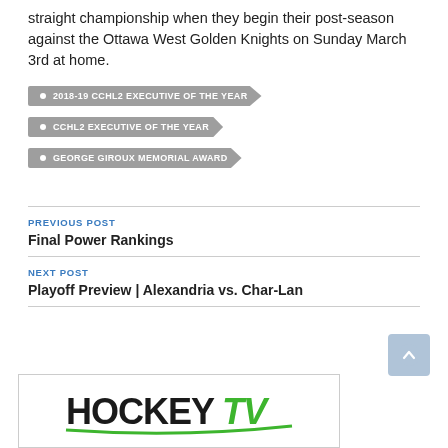straight championship when they begin their post-season against the Ottawa West Golden Knights on Sunday March 3rd at home.
2018-19 CCHL2 EXECUTIVE OF THE YEAR
CCHL2 EXECUTIVE OF THE YEAR
GEORGE GIROUX MEMORIAL AWARD
PREVIOUS POST
Final Power Rankings
NEXT POST
Playoff Preview | Alexandria vs. Char-Lan
[Figure (logo): HockeyTV logo at the bottom of the page]